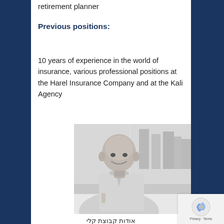retirement planner
Previous positions:
10 years of experience in the world of insurance, various professional positions at the Harel Insurance Company and at the Kali Agency
[Figure (photo): Black and white photo of a bald man in a light shirt, sitting at a desk, smiling, with a city window behind him]
אודות קבוצת קלי